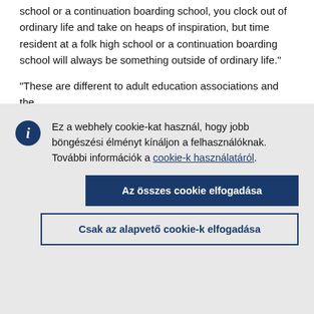school or a continuation boarding school, you clock out of ordinary life and take on heaps of inspiration, but time resident at a folk high school or a continuation boarding school will always be something outside of ordinary life."

"These are different to adult education associations and the
Ez a webhely cookie-kat használ, hogy jobb böngészési élményt kínáljon a felhasználóknak. További információk a cookie-k használatáról.
Az összes cookie elfogadása
Csak az alapvető cookie-k elfogadása